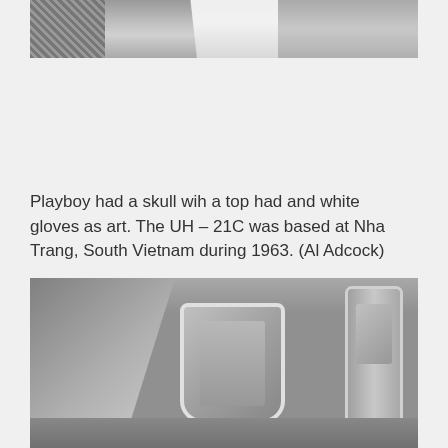[Figure (photo): Black and white photograph (top portion), showing a figure in white clothing against a dark background, cropped at the top of the page.]
Playboy had a skull wih a top had and white gloves as art. The UH – 21C was based at Nha Trang, South Vietnam during 1963. (Al Adcock)
[Figure (photo): Black and white photograph of a helicopter, showing the rotor, cockpit window, and fuselage door at a hangar or airfield, bottom portion of the page.]